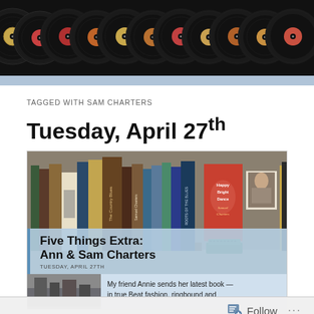[Figure (illustration): Row of vinyl records (45s/LPs) viewed from above, black records with colored labels on dark background header band]
TAGGED WITH SAM CHARTERS
Tuesday, April 27th
[Figure (photo): Bookshelf photo showing many books by Samuel Charters and others, with a green typewriter on the shelf; overlay text reads 'Five Things Extra: Ann & Sam Charters' with date 'TUESDAY, APRIL 27TH']
TUESDAY, APRIL 27TH
My friend Annie sends her latest book — in true Beat fashion, ringbound and